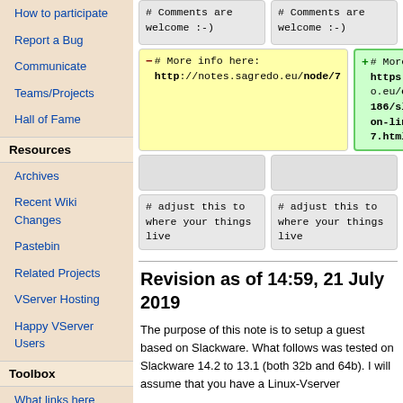How to participate
Report a Bug
Communicate
Teams/Projects
Hall of Fame
Resources
Archives
Recent Wiki Changes
Pastebin
Related Projects
VServer Hosting
Happy VServer Users
Toolbox
What links here
Related changes
Special pages
Printable version
Permanent link
[Figure (other): Diff table showing two columns. Top row: both cells show '# Comments are welcome :-)' on grey background. Middle row: left cell (yellow) shows '# More info here: http://notes.sagredo.eu/node/7' with minus marker; right cell (green) shows '# More info here: https://notes.sagredo.eu/other-contents-186/slackware-guest-on-linux-vserver-7.html' with plus marker. Bottom rows: empty grey cells, then both show '# adjust this to where your things live'.]
Revision as of 14:59, 21 July 2019
The purpose of this note is to setup a guest based on Slackware. What follows was tested on Slackware 14.2 to 13.1 (both 32b and 64b). I will assume that you have a Linux-Vserver